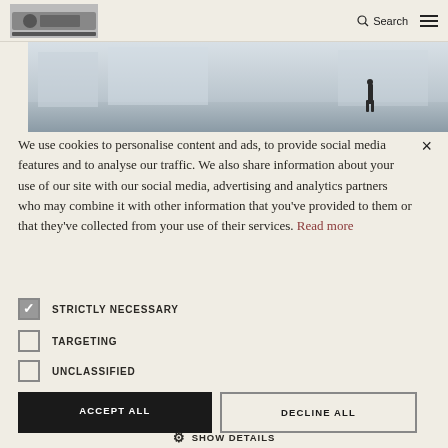Search  ☰
[Figure (photo): Interior gallery or museum space with light grey walls and floor; a person standing in the background]
We use cookies to personalise content and ads, to provide social media features and to analyse our traffic. We also share information about your use of our site with our social media, advertising and analytics partners who may combine it with other information that you've provided to them or that they've collected from your use of their services. Read more
STRICTLY NECESSARY (checked)
TARGETING (unchecked)
UNCLASSIFIED (unchecked)
ACCEPT ALL  |  DECLINE ALL
⚙ SHOW DETAILS